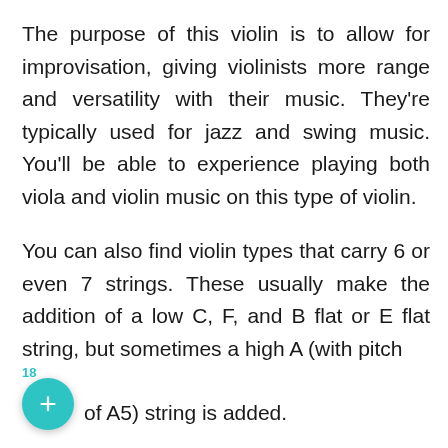The purpose of this violin is to allow for improvisation, giving violinists more range and versatility with their music. They're typically used for jazz and swing music. You'll be able to experience playing both viola and violin music on this type of violin.
You can also find violin types that carry 6 or even 7 strings. These usually make the addition of a low C, F, and B flat or E flat string, but sometimes a high A (with pitch of A5) string is added.